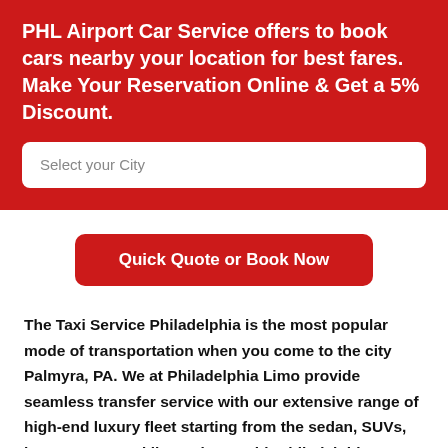PHL Airport Car Service offers to book cars nearby your location for best fares. Make Your Reservation Online & Get a 5% Discount.
Select your City
Quick Quote or Book Now
The Taxi Service Philadelphia is the most popular mode of transportation when you come to the city Palmyra, PA. We at Philadelphia Limo provide seamless transfer service with our extensive range of high-end luxury fleet starting from the sedan, SUVs, luxury vans, and limousines. With Philadelphia Airport Car Service for your service, we